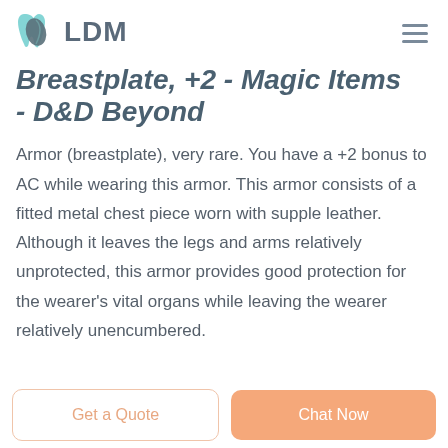[Figure (logo): LDM logo with teal/blue tooth and leaf icon, followed by bold gray 'LDM' text]
Breastplate, +2 - Magic Items - D&D Beyond
Armor (breastplate), very rare. You have a +2 bonus to AC while wearing this armor. This armor consists of a fitted metal chest piece worn with supple leather. Although it leaves the legs and arms relatively unprotected, this armor provides good protection for the wearer's vital organs while leaving the wearer relatively unencumbered.
Get a Quote | Chat Now